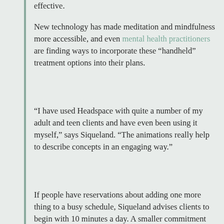effective.
New technology has made meditation and mindfulness more accessible, and even mental health practitioners are finding ways to incorporate these “handheld” treatment options into their plans.
“I have used Headspace with quite a number of my adult and teen clients and have even been using it myself,” says Siqueland. “The animations really help to describe concepts in an engaging way.”
If people have reservations about adding one more thing to a busy schedule, Siqueland advises clients to begin with 10 minutes a day. A smaller commitment can help to make mindfulness a lifestyle change that can be incorporated into daily life.
The author of this post is an editorial contributor to Headspace. These are their views, experiences and results and theirs alone. This contributor
Advertisements
Getting your team on the same page is easy. And free.